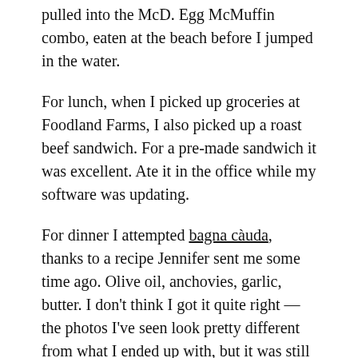pulled into the McD. Egg McMuffin combo, eaten at the beach before I jumped in the water.
For lunch, when I picked up groceries at Foodland Farms, I also picked up a roast beef sandwich. For a pre-made sandwich it was excellent. Ate it in the office while my software was updating.
For dinner I attempted bagna càuda, thanks to a recipe Jennifer sent me some time ago. Olive oil, anchovies, garlic, butter. I don't think I got it quite right — the photos I've seen look pretty different from what I ended up with, but it was still delicious. I dipped a couple of bagels in it for my dinner, then put the rest in the fridge for Monday's dinner.
I don't think I texted with anyone Sunday. It's always the slow day for texts, and it was fine. I had a good, relaxing